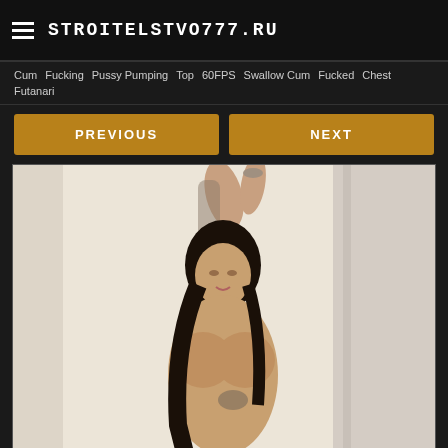STROITELSTVO777.RU
Cum  Fucking  Pussy Pumping  Top  60FPS  Swallow Cum  Fucked  Chest  Futanari
PREVIOUS  NEXT
[Figure (photo): Woman with tattoos posing with arms raised against white curtain background]